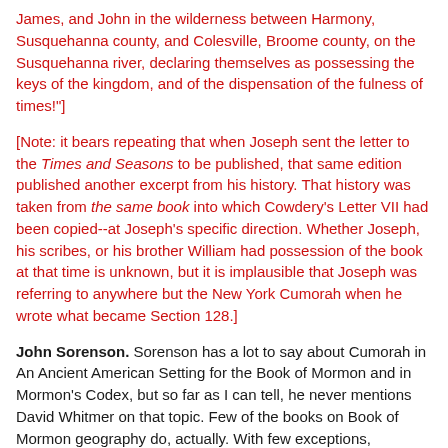James, and John in the wilderness between Harmony, Susquehanna county, and Colesville, Broome county, on the Susquehanna river, declaring themselves as possessing the keys of the kingdom, and of the dispensation of the fulness of times!"]
[Note: it bears repeating that when Joseph sent the letter to the Times and Seasons to be published, that same edition published another excerpt from his history. That history was taken from the same book into which Cowdery's Letter VII had been copied--at Joseph's specific direction. Whether Joseph, his scribes, or his brother William had possession of the book at that time is unknown, but it is implausible that Joseph was referring to anywhere but the New York Cumorah when he wrote what became Section 128.]
John Sorenson. Sorenson has a lot to say about Cumorah in An Ancient American Setting for the Book of Mormon and in Mormon's Codex, but so far as I can tell, he never mentions David Whitmer on that topic. Few of the books on Book of Mormon geography do, actually. With few exceptions, Mesoamericanists tend to avoid David Whitmer much like they